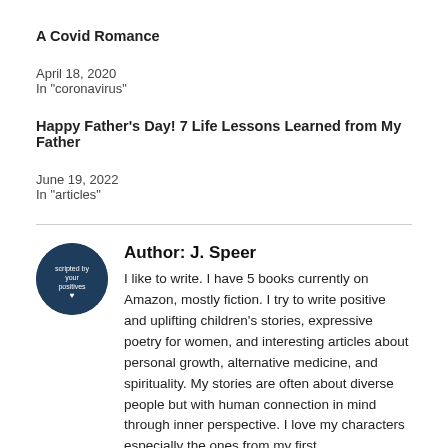A Covid Romance
April 18, 2020
In "coronavirus"
Happy Father's Day! 7 Life Lessons Learned from My Father
June 19, 2022
In "articles"
[Figure (illustration): Circular author avatar with dark blue background and white text/logo in center]
Author: J. Speer
I like to write. I have 5 books currently on Amazon, mostly fiction. I try to write positive and uplifting children's stories, expressive poetry for women, and interesting articles about personal growth, alternative medicine, and spirituality. My stories are often about diverse people but with human connection in mind through inner perspective. I love my characters especially the ones from my first